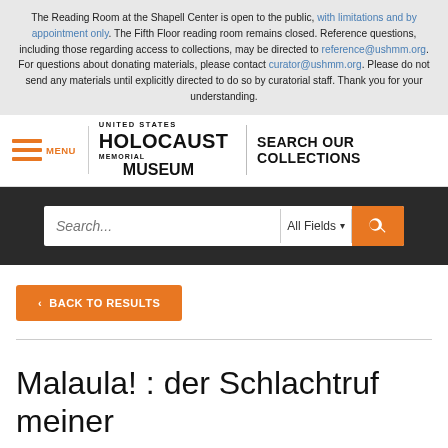The Reading Room at the Shapell Center is open to the public, with limitations and by appointment only. The Fifth Floor reading room remains closed. Reference questions, including those regarding access to collections, may be directed to reference@ushmm.org. For questions about donating materials, please contact curator@ushmm.org. Please do not send any materials until explicitly directed to do so by curatorial staff. Thank you for your understanding.
[Figure (logo): United States Holocaust Memorial Museum logo with hamburger menu and SEARCH OUR COLLECTIONS text]
[Figure (screenshot): Search bar with Search... placeholder, All Fields dropdown, and orange search button]
< BACK TO RESULTS
Malaula! : der Schlachtruf meiner